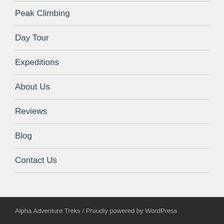Peak Climbing
Day Tour
Expeditions
About Us
Reviews
Blog
Contact Us
Alpha Adventure Treks  /  Proudly powered by WordPress